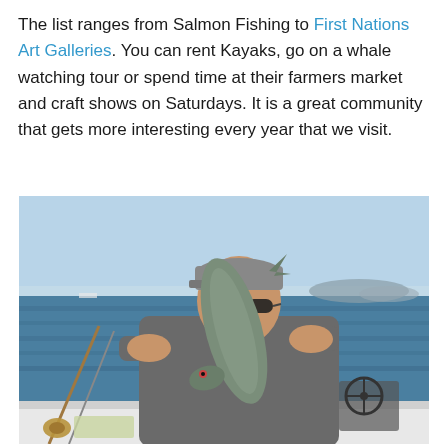The list ranges from Salmon Fishing to First Nations Art Galleries. You can rent Kayaks, go on a whale watching tour or spend time at their farmers market and craft shows on Saturdays. It is a great community that gets more interesting every year that we visit.
[Figure (photo): A man on a fishing boat holding up a large salmon. He is wearing a grey jacket, dark sunglasses and a grey cap. The ocean and hazy islands are visible in the background under a clear blue sky. Fishing rods and boat equipment are visible in the foreground.]